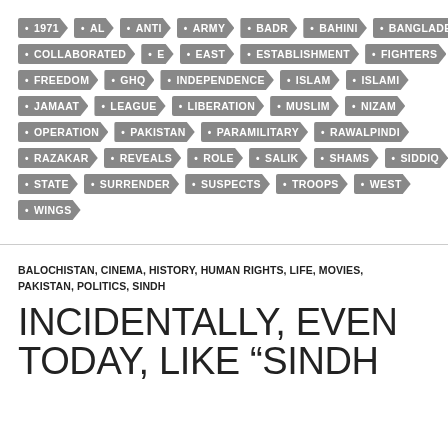[Figure (infographic): Tag cloud with arrow-shaped grey keyword tags arranged in rows: 1971, AL, ANTI, ARMY, BADR, BAHINI, BANGLADES, COLLABORATED, E, EAST, ESTABLISHMENT, FIGHTERS, FREEDOM, GHQ, INDEPENDENCE, ISLAM, ISLAMI, JAMAAT, LEAGUE, LIBERATION, MUSLIM, NIZAM, OPERATION, PAKISTAN, PARAMILITARY, RAWALPINDI, RAZAKAR, REVEALS, ROLE, SALIK, SHAMS, SIDDIQ, STATE, SURRENDER, SUSPECTS, TROOPS, WEST, WINGS]
BALOCHISTAN, CINEMA, HISTORY, HUMAN RIGHTS, LIFE, MOVIES, PAKISTAN, POLITICS, SINDH
INCIDENTALLY, EVEN TODAY, LIKE “SINDH